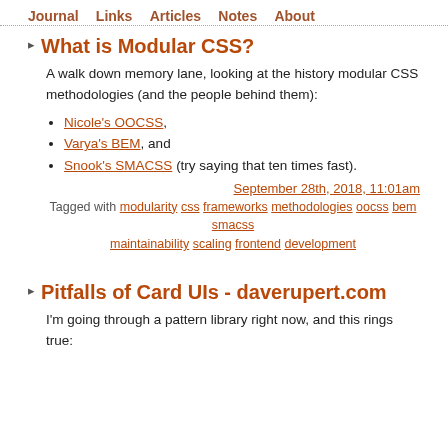Journal  Links  Articles  Notes  About
What is Modular CSS?
A walk down memory lane, looking at the history modular CSS methodologies (and the people behind them):
Nicole's OOCSS,
Varya's BEM, and
Snook's SMACSS (try saying that ten times fast).
September 28th, 2018, 11:01am
Tagged with modularity css frameworks methodologies oocss bem smacss maintainability scaling frontend development
Pitfalls of Card UIs - daverupert.com
I'm going through a pattern library right now, and this rings true: